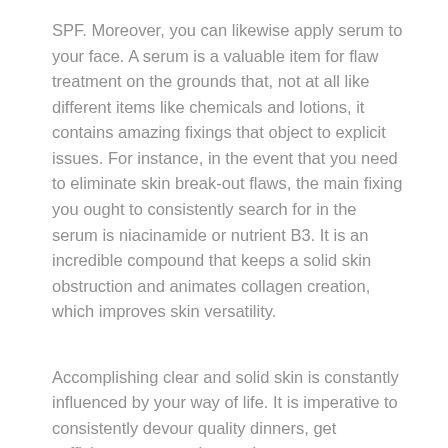SPF. Moreover, you can likewise apply serum to your face. A serum is a valuable item for flaw treatment on the grounds that, not at all like different items like chemicals and lotions, it contains amazing fixings that object to explicit issues. For instance, in the event that you need to eliminate skin break-out flaws, the main fixing you ought to consistently search for in the serum is niacinamide or nutrient B3. It is an incredible compound that keeps a solid skin obstruction and animates collagen creation, which improves skin versatility.
Accomplishing clear and solid skin is constantly influenced by your way of life. It is imperative to consistently devour quality dinners, get sufficient rest, exercise, and react to pressure all the more usefully. It is likewise important to have a decent skincare routine since it improves and further upgrades the skin. Continuously purify, shed, tone, saturate, and secure your skin. What's more, on the off chance that you need to target explicit skin territories and eliminate those flaws, pick serums and pick the most reasonable sort for your skincare